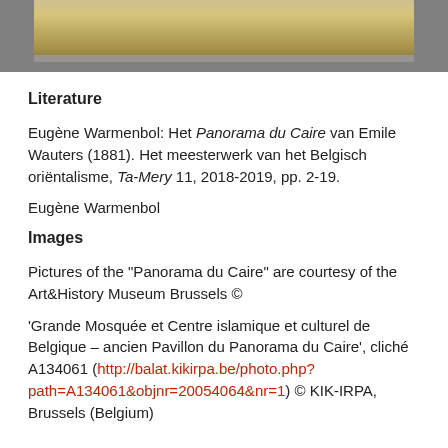[Figure (photo): Top portion of a framed painting or panorama artwork, showing a textured sandy/earthy surface, mounted on a gray wall. Only the upper edge of the artwork is visible.]
Literature
Eugène Warmenbol: Het Panorama du Caire van Emile Wauters (1881). Het meesterwerk van het Belgisch oriëntalisme, Ta-Mery 11, 2018-2019, pp. 2-19.
Eugène Warmenbol
Images
Pictures of the "Panorama du Caire" are courtesy of the Art&History Museum Brussels ©
'Grande Mosquée et Centre islamique et culturel de Belgique – ancien Pavillon du Panorama du Caire', cliché A134061 (http://balat.kikirpa.be/photo.php?path=A134061&objnr=20054064&nr=1) © KIK-IRPA, Brussels (Belgium)